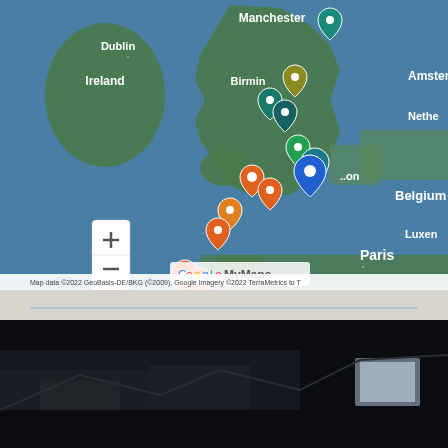[Figure (map): Google My Maps screenshot showing UK and nearby European countries (Ireland, Netherlands, Belgium, Luxembourg, France). Multiple colored location pins are clustered over England, particularly around Birmingham, London, and southwest England. Cities labeled: Dublin, Manchester, Birmingham, London (partially), Amsterdam, Paris. Map data credit: ©2022 GeoBasis-DE/BKG (©2009), Google Imagery ©2022 TerraMetrics. Zoom in (+) and zoom out (-) controls visible in lower left.]
[Figure (photo): Dark nighttime photograph of a building exterior, showing architectural details in very low light. A lit window is visible on the right side.]